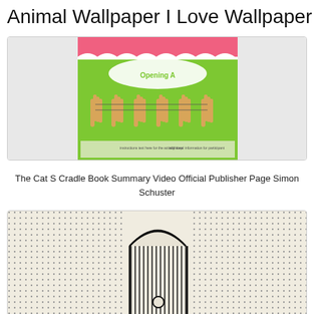Animal Wallpaper I Love Wallpaper
[Figure (photo): Photo showing a colorful book cover or educational material with illustrated hands performing cat's cradle string figures, with pink top, green background, and heading 'Opening A']
The Cat S Cradle Book Summary Video Official Publisher Page Simon Schuster
[Figure (illustration): Black and white illustration on a cream/beige dotted background showing an art deco style design with vertical stripes forming a door or panel shape, with a semicircle at top and a circle at bottom, surrounded by a dense dot pattern texture]